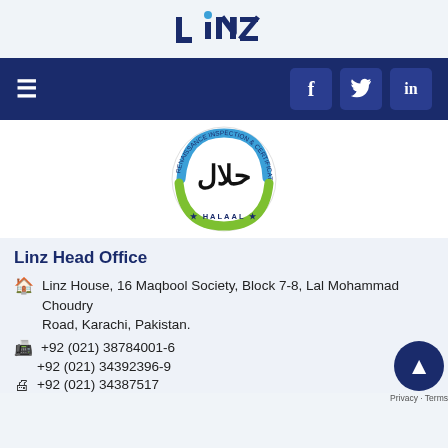[Figure (logo): LINZ company logo text in dark blue with a blue dot above the letter I]
[Figure (logo): Halal certification logo: circular badge with Arabic 'Halal' text in center and 'RENAISSANCE INSPECTION & CERTIFICATION AGENCY' and 'HALAAL' text around the border, with green and blue circular swoosh]
Linz Head Office
Linz House, 16 Maqbool Society, Block 7-8, Lal Mohammad Choudry Road, Karachi, Pakistan.
+92 (021) 38784001-6
+92 (021) 34392396-9
+92 (021) 34387517